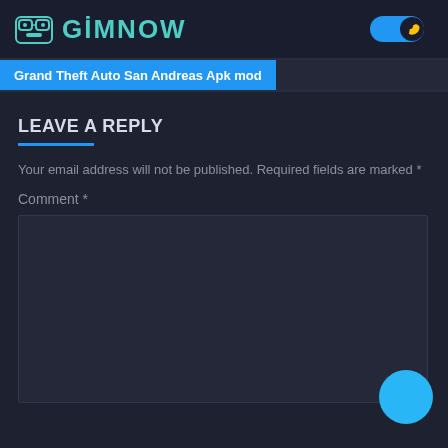GiMNOW
Grand Theft Auto San Andreas Apk mod
LEAVE A REPLY
Your email address will not be published. Required fields are marked *
Comment *